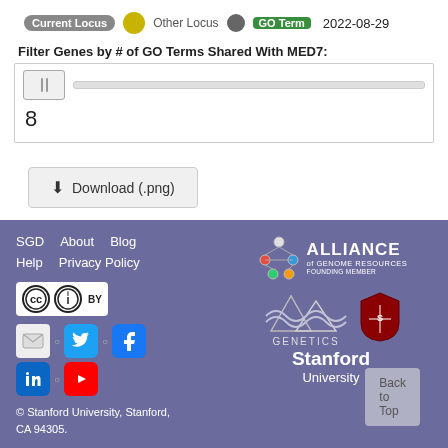[Figure (screenshot): Legend row showing Current Locus (gray pill), yellow circle for Other Locus, gray circle, green GO Term rectangle, and date 2022-08-29]
Filter Genes by # of GO Terms Shared With MED7:
[Figure (screenshot): Slider control with thumb at left and empty track, value showing 8]
[Figure (screenshot): Download (.png) button]
SGD  About  Blog
Help  Privacy Policy
© Stanford University, Stanford, CA 94305.
Alliance of Genome Resources Founding Member
Genetics Stanford University
Back to Top